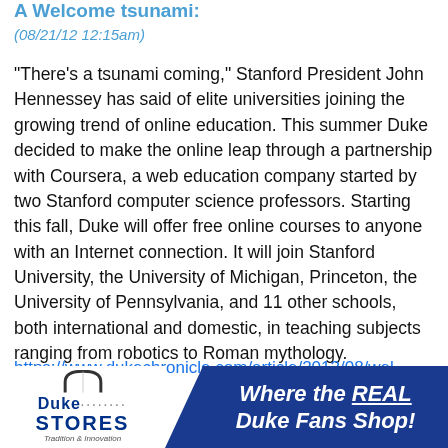A Welcome tsunami:
(08/21/12 12:15am)
“There’s a tsunami coming,” Stanford President John Hennessey has said of elite universities joining the growing trend of online education. This summer Duke decided to make the online leap through a partnership with Coursera, a web education company started by two Stanford computer science professors. Starting this fall, Duke will offer free online courses to anyone with an Internet connection. It will join Stanford University, the University of Michigan, Princeton, the University of Pennsylvania, and 11 other schools, both international and domestic, in teaching subjects ranging from robotics to Roman mythology.
https://www.dukechronicle.com/article/2012/08/welcome-
[Figure (illustration): Duke Stores advertisement banner: Duke Stores logo on white background on the left, with blue triangular divider, and dark blue section on right reading 'Where the REAL Duke Fans Shop!' in white italic bold text.]